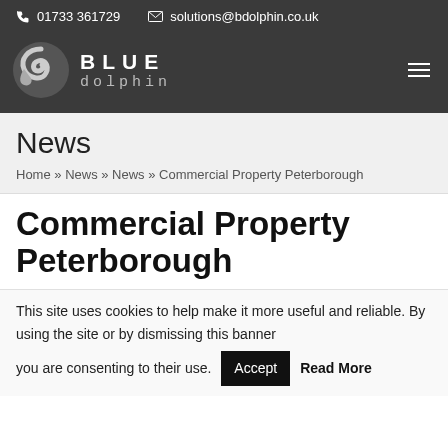☎ 01733 361729  ✉ solutions@bdolphin.co.uk
[Figure (logo): Blue Dolphin logo with swirl graphic, text BLUE dolphin]
News
Home » News » News » Commercial Property Peterborough
Commercial Property Peterborough
This site uses cookies to help make it more useful and reliable. By using the site or by dismissing this banner you are consenting to their use. Accept  Read More